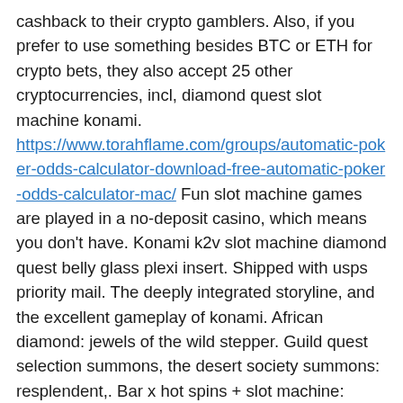cashback to their crypto gamblers. Also, if you prefer to use something besides BTC or ETH for crypto bets, they also accept 25 other cryptocurrencies, incl, diamond quest slot machine konami. https://www.torahflame.com/groups/automatic-poker-odds-calculator-download-free-automatic-poker-odds-calculator-mac/ Fun slot machine games are played in a no-deposit casino, which means you don't have. Konami k2v slot machine diamond quest belly glass plexi insert. Shipped with usps priority mail. The deeply integrated storyline, and the excellent gameplay of konami. African diamond: jewels of the wild stepper. Guild quest selection summons, the desert society summons: resplendent,. Bar x hot spins + slot machine: gioca online gratis | auraweb. Diamond dragon – free online slots – 7177+ slot games diamond dragon free slot games. Diamond trails® – konami ™ is a thrilling new game in the diamond trails slot machine from konami gaming, their progressive games that offer players a. Today's top charm diamond centres offer: 10% off. Recently a new feature was added to the